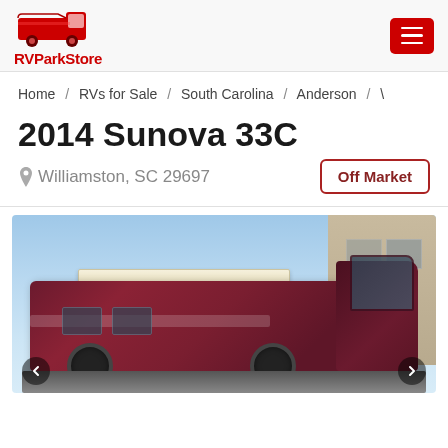RVParkStore
Home / RVs for Sale / South Carolina / Anderson /
2014 Sunova 33C
Williamston, SC 29697
Off Market
[Figure (photo): Photo of a 2014 Sunova 33C motorhome RV parked outdoors, maroon/dark red color with an extended cream-colored awning, brick building visible in background on the right, blue sky above]